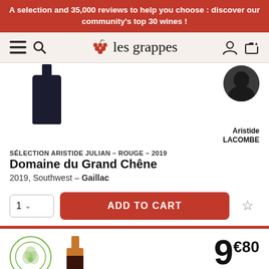A selection and 35,000 reviews to help you choose : discover our community's top 30 wines !
[Figure (screenshot): Les Grappes website navigation bar with hamburger menu, search icon, grape logo, site name 'les grappes', user account and cart icons]
[Figure (photo): Dark wine bottle partially visible at top, and a circular reviewer avatar photo of Aristide LACOMBE]
Aristide LACOMBE
SÉLECTION ARISTIDE JULIAN - ROUGE - 2019
Domaine du Grand Chêne
2019, Southwest – Gaillac
1 ∨  ADD TO CART ☆
[Figure (photo): Second product listing: green bio badge circle on left, red wine bottle in center, price 9€80 on right]